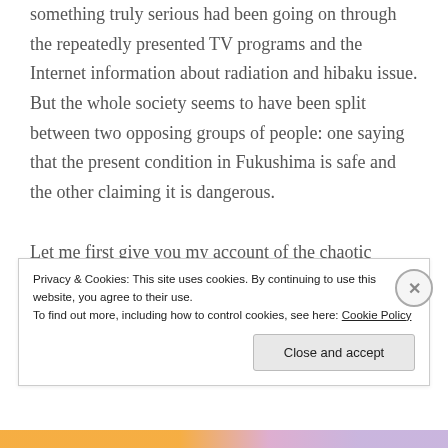something truly serious had been going on through the repeatedly presented TV programs and the Internet information about radiation and hibaku issue. But the whole society seems to have been split between two opposing groups of people: one saying that the present condition in Fukushima is safe and the other claiming it is dangerous.

Let me first give you my account of the chaotic situation right after the accident. At first, I tried
Privacy & Cookies: This site uses cookies. By continuing to use this website, you agree to their use.
To find out more, including how to control cookies, see here: Cookie Policy